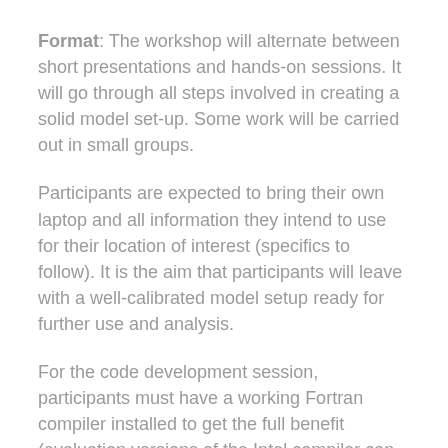Format: The workshop will alternate between short presentations and hands-on sessions. It will go through all steps involved in creating a solid model set-up. Some work will be carried out in small groups.
Participants are expected to bring their own laptop and all information they intend to use for their location of interest (specifics to follow). It is the aim that participants will leave with a well-calibrated model setup ready for further use and analysis.
For the code development session, participants must have a working Fortran compiler installed to get the full benefit (evaluation versions of the Intel compiler can be installed on Windows - on Mac and Linux gcc is available). GOTM/FABM is platform-independent: users with Windows, Mac and Linux will have the